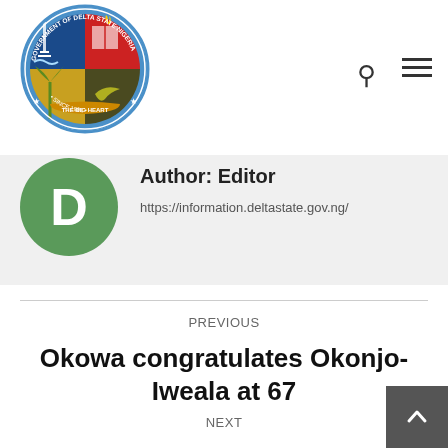[Figure (logo): Government of Delta State Nigeria official seal/logo — circular badge with blue, red, and green quadrants showing an oil derrick, open book, palm tree, and eagle, with text 'GOVERNMENT OF DELTA STATE NIGERIA', 'THE BIG HEART', 'SINCE 1991']
Author: Editor
https://information.deltastate.gov.ng/
PREVIOUS
Okowa congratulates Okonjo-Iweala at 67
NEXT